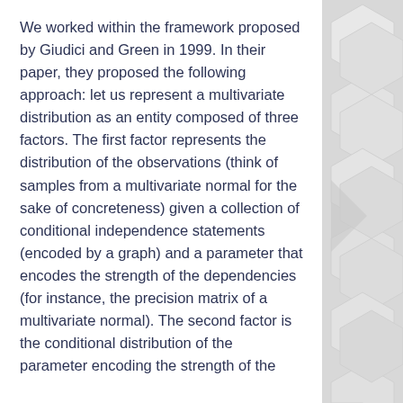We worked within the framework proposed by Giudici and Green in 1999. In their paper, they proposed the following approach: let us represent a multivariate distribution as an entity composed of three factors. The first factor represents the distribution of the observations (think of samples from a multivariate normal for the sake of concreteness) given a collection of conditional independence statements (encoded by a graph) and a parameter that encodes the strength of the dependencies (for instance, the precision matrix of a multivariate normal). The second factor is the conditional distribution of the parameter encoding the strength of the